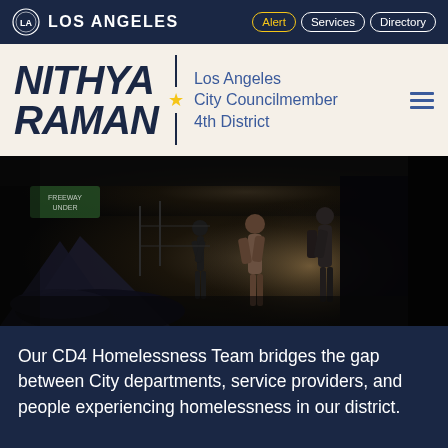LOS ANGELES  Alert  Services  Directory
NITHYA RAMAN | Los Angeles City Councilmember 4th District
[Figure (photo): Dark silhouette photograph of people at a homeless encampment under an overpass, with tents and figures visible in low light]
Our CD4 Homelessness Team bridges the gap between City departments, service providers, and people experiencing homelessness in our district.